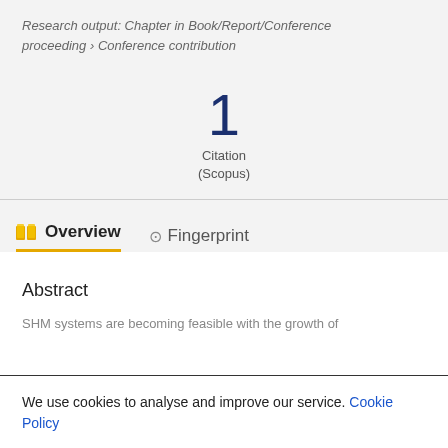Research output: Chapter in Book/Report/Conference proceeding › Conference contribution
1
Citation
(Scopus)
Overview   Fingerprint
Abstract
SHM systems are becoming feasible with the growth of
We use cookies to analyse and improve our service. Cookie Policy